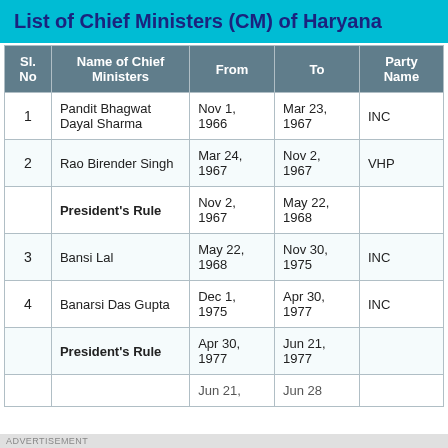List of Chief Ministers (CM) of Haryana
| Sl. No | Name of Chief Ministers | From | To | Party Name |
| --- | --- | --- | --- | --- |
| 1 | Pandit Bhagwat Dayal Sharma | Nov 1, 1966 | Mar 23, 1967 | INC |
| 2 | Rao Birender Singh | Mar 24, 1967 | Nov 2, 1967 | VHP |
|  | President's Rule | Nov 2, 1967 | May 22, 1968 |  |
| 3 | Bansi Lal | May 22, 1968 | Nov 30, 1975 | INC |
| 4 | Banarsi Das Gupta | Dec 1, 1975 | Apr 30, 1977 | INC |
|  | President's Rule | Apr 30, 1977 | Jun 21, 1977 |  |
|  |  | Jun 21, | Jun 28 |  |
ADVERTISEMENT